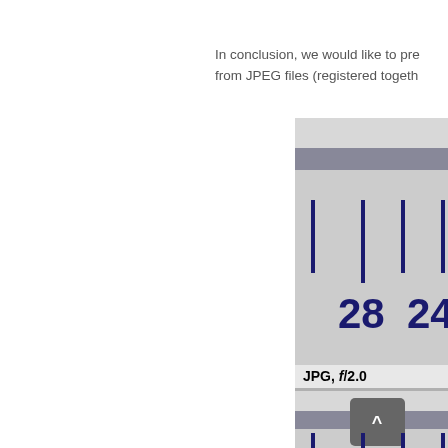In conclusion, we would like to pre... from JPEG files (registered togeth...
[Figure (photo): A close-up photograph of a ruler/measuring scale showing tick marks and numbers 28 and 24 (partially visible), with a label 'JPG, f/2.0' below. Below that is a second similar image showing another portion of the scale, partially cropped. A grey scroll-up button (^) is visible overlaid on the second image.]